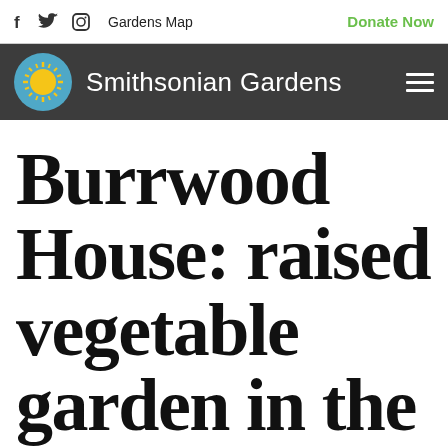f  Twitter  Instagram  Gardens Map  Donate Now
Smithsonian Gardens
Burrwood House: raised vegetable garden in the spring with iris